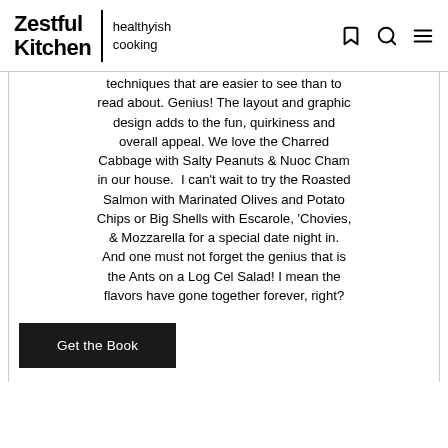Zestful Kitchen | healthyish cooking
techniques that are easier to see than to read about. Genius! The layout and graphic design adds to the fun, quirkiness and overall appeal. We love the Charred Cabbage with Salty Peanuts & Nuoc Cham in our house.  I can't wait to try the Roasted Salmon with Marinated Olives and Potato Chips or Big Shells with Escarole, 'Chovies, & Mozzarella for a special date night in. And one must not forget the genius that is the Ants on a Log Cel Salad! I mean the flavors have gone together forever, right?
Get the Book